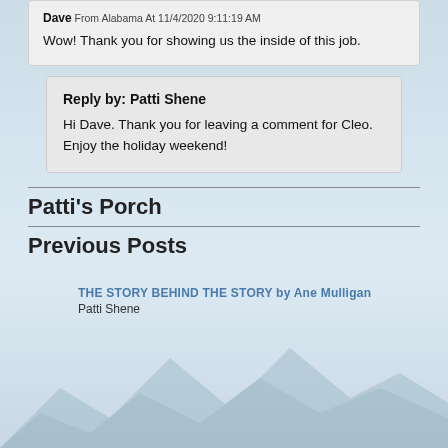Dave From Alabama At 11/4/2020 9:11:19 AM
Wow! Thank you for showing us the inside of this job.
Reply by: Patti Shene
Hi Dave. Thank you for leaving a comment for Cleo. Enjoy the holiday weekend!
Patti's Porch
Previous Posts
THE STORY BEHIND THE STORY by Ane Mulligan
Patti Shene